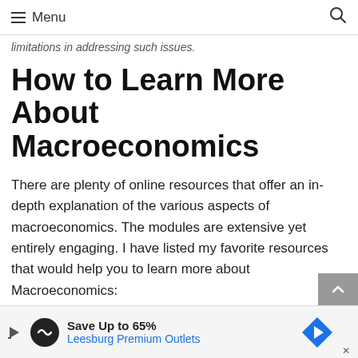≡ Menu
limitations in addressing such issues.
How to Learn More About Macroeconomics
There are plenty of online resources that offer an in-depth explanation of the various aspects of macroeconomics. The modules are extensive yet entirely engaging. I have listed my favorite resources that would help you to learn more about Macroeconomics:
Khan Academy
Crash Course (YouTube)